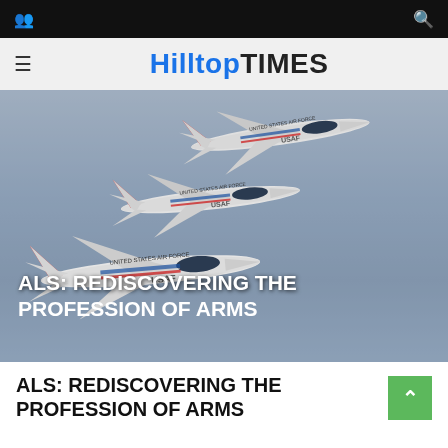HilltopTIMES
[Figure (photo): Three USAF Thunderbirds F-16 fighter jets flying in close formation against a grey-blue sky. Text overlay reads: ALS: REDISCOVERING THE PROFESSION OF ARMS]
ALS: REDISCOVERING THE PROFESSION OF ARMS